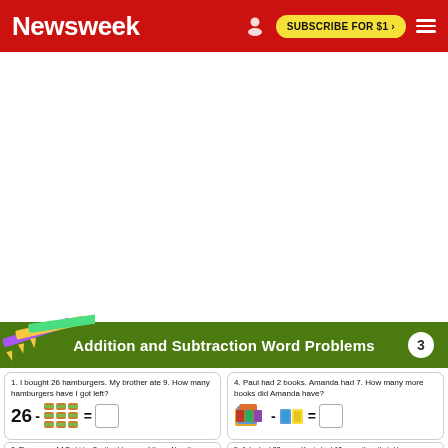Newsweek | SUBSCRIBE FOR $1 >
[Figure (illustration): Newsweek website screenshot showing header with red background, Newsweek logo in white, subscribe button in yellow, and a large white ad space below]
Addition and Subtraction Word Problems
1. I bought 26 hamburgers. My brother ate 9. How many hamburgers have I got left?
[Figure (illustration): Equation: 26 - [hamburger images] = [answer box]]
4. Paul had 2 books. Amanda had 7. How many more books did Amanda have?
[Figure (illustration): Equation: [stack of books image] - [books image] = [answer box]]
2. There were 14 T-shirts. Scott sold some of them. Now there are 6 left. How many did she sell?
5. John had 27 pens. Kevin had 13 more than that. How many pens did Kevin have?